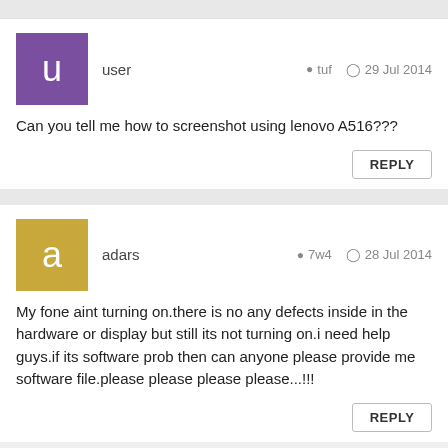user · tuf · 29 Jul 2014
Can you tell me how to screenshot using lenovo A516???
adars · 7w4 · 28 Jul 2014
My fone aint turning on.there is no any defects inside in the hardware or display but still its not turning on.i need help guys.if its software prob then can anyone please provide me software file.please please please please...!!!